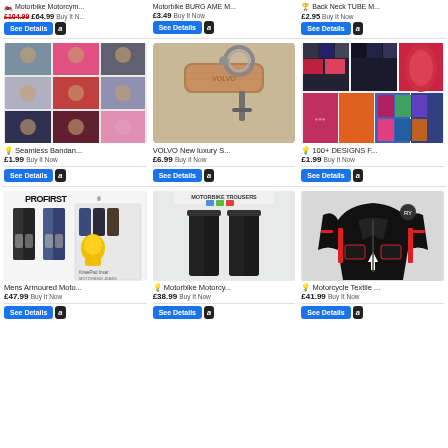[Figure (screenshot): E-commerce product listing page showing 9 products in a 3x3 grid with prices, 'See Details' buttons and Amazon buttons. Top partial row shows 3 items (motorcycle item £64.99 was £104.99, item £3.49, item £2.95). Middle row: Seamless Bandana £1.99, VOLVO New luxury S... £6.99, 100+ DESIGNS F... £1.99. Bottom row: Mens Armoured Moto... £47.99, Motorbike Motorcy... £38.99, Motorcycle Textile ... £41.99.]